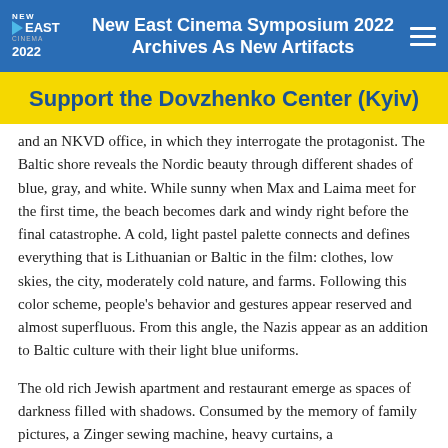New East Cinema Symposium 2022 Archives As New Artifacts
Support the Dovzhenko Center (Kyiv)
and an NKVD office, in which they interrogate the protagonist.  The Baltic shore reveals the Nordic beauty through different shades of blue, gray, and white.  While sunny when Max and Laima meet for the first time, the beach becomes dark and windy right before the final catastrophe.  A cold, light pastel palette connects and defines everything that is Lithuanian or Baltic in the film: clothes, low skies, the city, moderately cold nature, and farms.  Following this color scheme, people's behavior and gestures appear reserved and almost superfluous.  From this angle, the Nazis appear as an addition to Baltic culture with their light blue uniforms.
The old rich Jewish apartment and restaurant emerge as spaces of darkness filled with shadows.  Consumed by the memory of family pictures, a Zinger sewing machine, heavy curtains, a